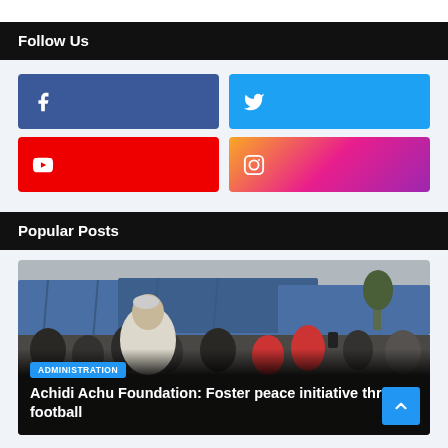Follow Us
[Figure (infographic): Social media follow buttons: Facebook (blue), Twitter (light blue), YouTube (red), Instagram (gradient pink-purple-orange)]
Popular Posts
[Figure (photo): Crowd scene outdoors under blue tarp canopies, a man in white garment and cap visible in foreground]
ADMINISTRATION
Achidi Achu Foundation: Foster peace initiative through football